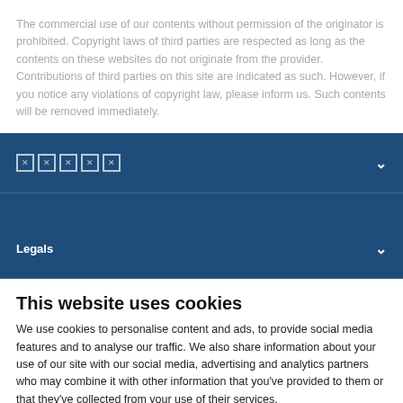The commercial use of our contents without permission of the originator is prohibited. Copyright laws of third parties are respected as long as the contents on these websites do not originate from the provider. Contributions of third parties on this site are indicated as such. However, if you notice any violations of copyright law, please inform us. Such contents will be removed immediately.
[Figure (screenshot): Dark blue navigation bar with icon row and chevron dropdown]
Legals
This website uses cookies
We use cookies to personalise content and ads, to provide social media features and to analyse our traffic. We also share information about your use of our site with our social media, advertising and analytics partners who may combine it with other information that you've provided to them or that they've collected from your use of their services.
Use necessary cookies only
Allow all cookies
Show details